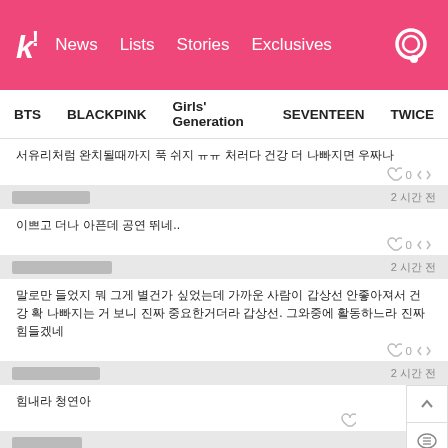k! News Lists Stories Exclusives
BTS   BLACKPINK   Girls' Generation   SEVENTEEN   TWICE
서유리처럼 완치될때까지 푹 쉬지 ㅠㅠ 처러다 건강 더 나빠지면 우짜나
이쁘고 더나 아픈데 공연 뛰네..
말로만 들었지 뭐 그게 별건가 싶었는데 가까운 사람이 갑상선 안좋아져서 건강 확 나빠지는 거 보니 진짜 중요한거더라 갑상선. 그와중에 활동하느라 진짜 힘들겠네
힘내라 청연아
저건 좀 쉬어야하지않나...?
| Wikitree